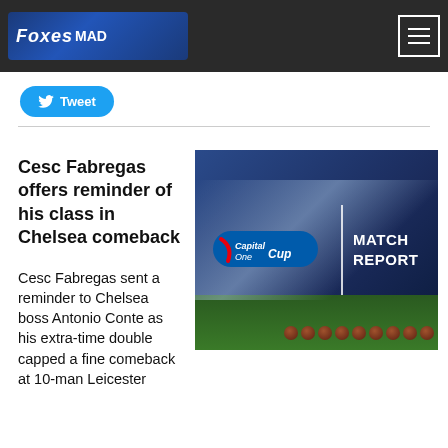Foxes MAD
Tweet
Cesc Fabregas offers reminder of his class in Chelsea comeback
[Figure (photo): Capital One Cup Match Report promotional image showing a football stadium with sprinklers and balls on the pitch]
Cesc Fabregas sent a reminder to Chelsea boss Antonio Conte as his extra-time double capped a fine comeback at 10-man Leicester